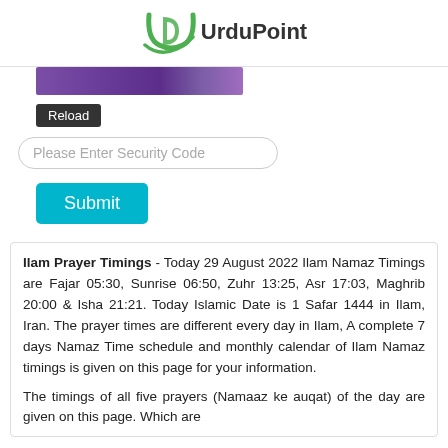UrduPoint
[Figure (screenshot): Purple/dark banner image strip at top left]
Reload
Please Enter Security Code
Submit
Ilam Prayer Timings - Today 29 August 2022 Ilam Namaz Timings are Fajar 05:30, Sunrise 06:50, Zuhr 13:25, Asr 17:03, Maghrib 20:00 & Isha 21:21. Today Islamic Date is 1 Safar 1444 in Ilam, Iran. The prayer times are different every day in Ilam, A complete 7 days Namaz Time schedule and monthly calendar of Ilam Namaz timings is given on this page for your information.
The timings of all five prayers (Namaaz ke auqat) of the day are given on this page. Which are